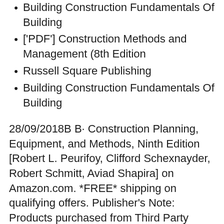Building Construction Fundamentals Of Building
['PDF'] Construction Methods and Management (8th Edition
Russell Square Publishing
Building Construction Fundamentals Of Building
28/09/2018В В· Construction Planning, Equipment, and Methods, Ninth Edition [Robert L. Peurifoy, Clifford Schexnayder, Robert Schmitt, Aviad Shapira] on Amazon.com. *FREE* shipping on qualifying offers. Publisher's Note: Products purchased from Third Party sellers вЂ¦ Construction Methods and Management 8th Edition PDF Download Free Ebook. Stephens W.